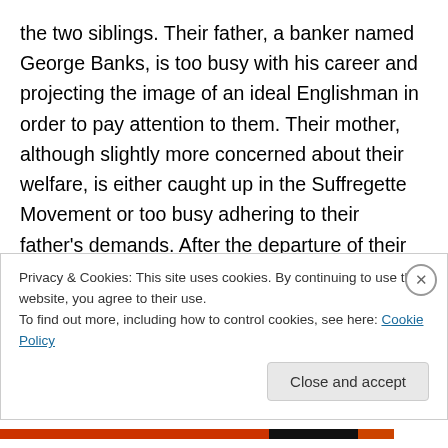the two siblings. Their father, a banker named George Banks, is too busy with his career and projecting the image of an ideal Englishman in order to pay attention to them. Their mother, although slightly more concerned about their welfare, is either caught up in the Suffregette Movement or too busy adhering to their father's demands. After the departure of their latest nanny, Katie Nanna, Jane and Michael write a letter describing what they want in a new nanny. But Mr. Banks has different ideas – a nanny who is an effective disciplinarian – and tears up their letter.
Privacy & Cookies: This site uses cookies. By continuing to use this website, you agree to their use.
To find out more, including how to control cookies, see here: Cookie Policy